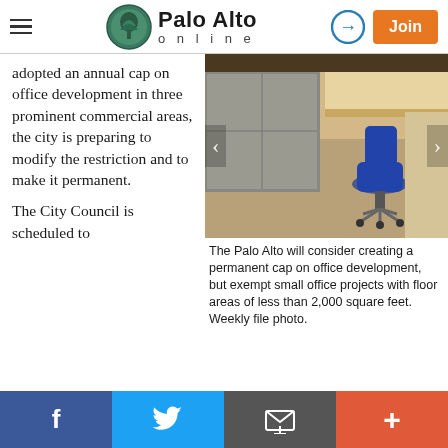Palo Alto Online
adopted an annual cap on office development in three prominent commercial areas, the city is preparing to modify the restriction and to make it permanent.
[Figure (photo): Interior office photo showing a blue rolling chair and desk furniture on beige carpet]
The Palo Alto will consider creating a permanent cap on office development, but exempt small office projects with floor areas of less than 2,000 square feet. Weekly file photo.
The City Council is scheduled to adopt on Monday an ordinance that would cement the annual office cap as a tool for limiting commercial growth in three prominent areas:
f  Twitter  Email  +